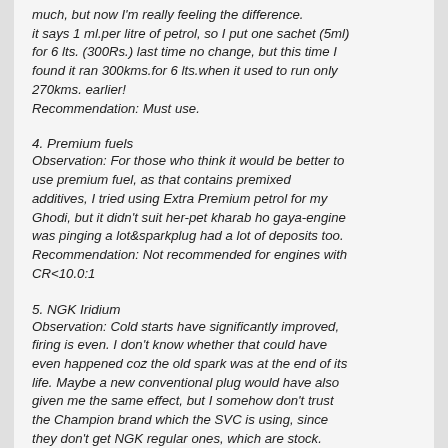much, but now I'm really feeling the difference. it says 1 ml.per litre of petrol, so I put one sachet (5ml) for 6 lts. (300Rs.) last time no change, but this time I found it ran 300kms.for 6 lts.when it used to run only 270kms. earlier!
Recommendation: Must use.
4. Premium fuels
Observation: For those who think it would be better to use premium fuel, as that contains premixed additives, I tried using Extra Premium petrol for my Ghodi, but it didn't suit her-pet kharab ho gaya-engine was pinging a lot&sparkplug had a lot of deposits too.
Recommendation: Not recommended for engines with CR<10.0:1
5. NGK Iridium
Observation: Cold starts have significantly improved, firing is even. I don't know whether that could have even happened coz the old spark was at the end of its life. Maybe a new conventional plug would have also given me the same effect, but I somehow don't trust the Champion brand which the SVC is using, since they don't get NGK regular ones, which are stock. When I went to look for NGK conventional, I got tempted by the Iridium&moreover the shopkeeper also said it lasts much longer than regular ones. I am happy coz my bike starts with a single kick even if left